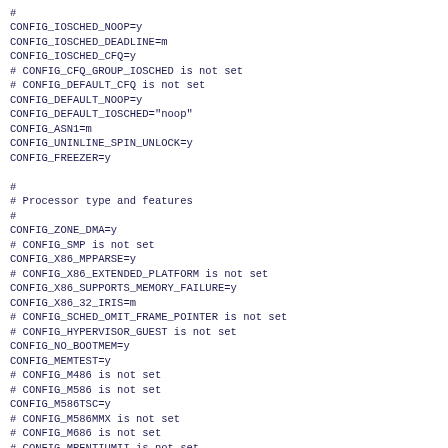#
CONFIG_IOSCHED_NOOP=y
CONFIG_IOSCHED_DEADLINE=m
CONFIG_IOSCHED_CFQ=y
# CONFIG_CFQ_GROUP_IOSCHED is not set
# CONFIG_DEFAULT_CFQ is not set
CONFIG_DEFAULT_NOOP=y
CONFIG_DEFAULT_IOSCHED="noop"
CONFIG_ASN1=m
CONFIG_UNINLINE_SPIN_UNLOCK=y
CONFIG_FREEZER=y

#
# Processor type and features
#
CONFIG_ZONE_DMA=y
# CONFIG_SMP is not set
CONFIG_X86_MPPARSE=y
# CONFIG_X86_EXTENDED_PLATFORM is not set
CONFIG_X86_SUPPORTS_MEMORY_FAILURE=y
CONFIG_X86_32_IRIS=m
# CONFIG_SCHED_OMIT_FRAME_POINTER is not set
# CONFIG_HYPERVISOR_GUEST is not set
CONFIG_NO_BOOTMEM=y
CONFIG_MEMTEST=y
# CONFIG_M486 is not set
# CONFIG_M586 is not set
CONFIG_M586TSC=y
# CONFIG_M586MMX is not set
# CONFIG_M686 is not set
# CONFIG_MPENTIUMII is not set